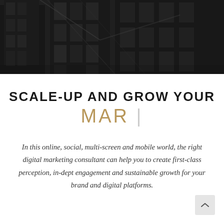[Figure (photo): Dark black-and-white aerial/street-level photo of tall urban buildings and skyscrapers, viewed from below looking up, with glass facades and steel structures.]
SCALE-UP AND GROW YOUR MAR |
In this online, social, multi-screen and mobile world, the right digital marketing consultant can help you to create first-class perception, in-dept engagement and sustainable growth for your brand and digital platforms.